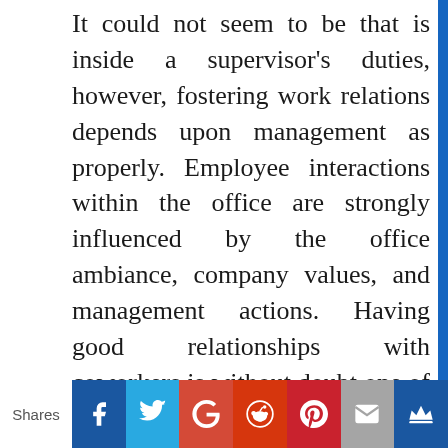It could not seem to be that is inside a supervisor's duties, however, fostering work relations depends upon management as properly. Employee interactions within the office are strongly influenced by the office ambiance, company values, and management actions. Having good relationships with coworkers is without doubt one of the top three happiness drivers.
Here's how one can assist them to thrive:
Build a company culture of trust and
[Figure (infographic): Social media share bar with icons for Facebook, Twitter, Google+, Reddit, Pinterest, Email, and a crown icon. Left side shows 'Shares' label.]